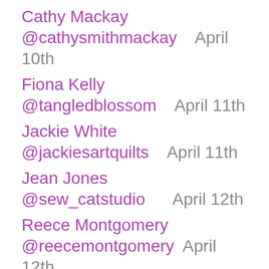Cathy Mackay @cathysmithmackay   April 10th
Fiona Kelly @tangledblossom   April 11th
Jackie White @jackiesartquilts   April 11th
Jean Jones @sew_catstudio   April 12th
Reece Montgomery @reecemontgomery   April 12th
Carl Hentsch @3dogdesignco   April 13th